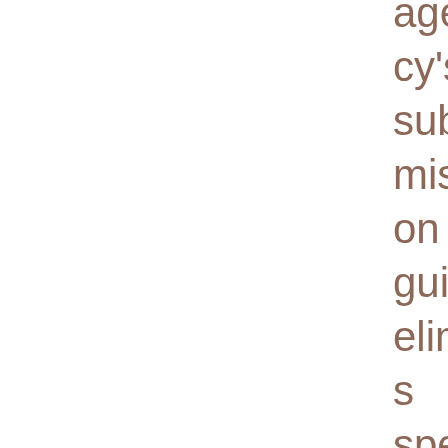agency's submission guidelines specifically ask for it Why you should not assume that the agent you liked so